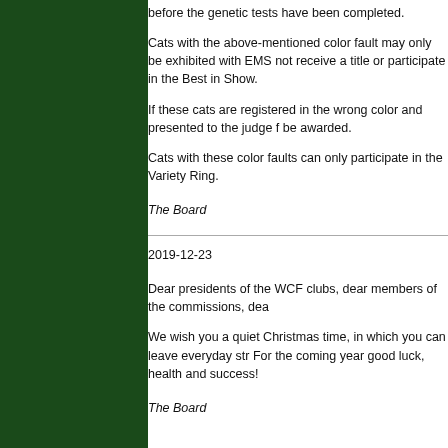before the genetic tests have been completed.
Cats with the above-mentioned color fault may only be exhibited with EMS not receive a title or participate in the Best in Show.
If these cats are registered in the wrong color and presented to the judge f be awarded.
Cats with these color faults can only participate in the Variety Ring.
The Board
2019-12-23
Dear presidents of the WCF clubs, dear members of the commissions, dea
We wish you a quiet Christmas time, in which you can leave everyday str For the coming year good luck, health and success!
The Board